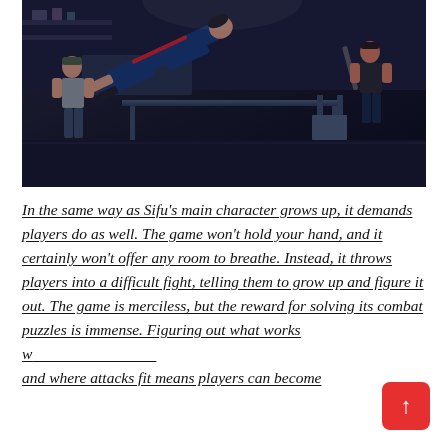[Figure (screenshot): Video game screenshot from Sifu showing a combat scene. A character in a dark outfit is airborne/flying horizontally across a room, being struck or throwing a kick. One enemy in a grey tank top is on the left near a table, and another enemy in dark clothing holds a weapon on the right. The setting is a dimly lit indoor room with shelves and furniture.]
In the same way as Sifu's main character grows up, it demands players do as well. The game won't hold your hand, and it certainly won't offer any room to breathe. Instead, it throws players into a difficult fight, telling them to grow up and figure it out. The game is merciless, but the reward for solving its combat puzzles is immense. Figuring out what works w and where attacks fit means players can become